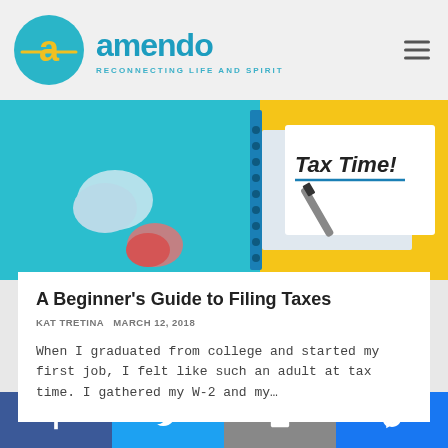[Figure (logo): Amendo logo — teal circle with yellow 'a' letter mark, teal wordmark 'amendo', tagline 'RECONNECTING LIFE AND SPIRIT']
[Figure (photo): Tax time photo: teal and yellow notebooks, crumpled paper balls, a notepad reading 'Tax Time!' with a pen]
A Beginner's Guide to Filing Taxes
KAT TRETINA MARCH 12, 2018
When I graduated from college and started my first job, I felt like such an adult at tax time. I gathered my W-2 and my…
[Figure (infographic): Social sharing footer bar with icons: Facebook (dark blue), Twitter (light blue), Email/envelope (grey), Messenger (blue)]